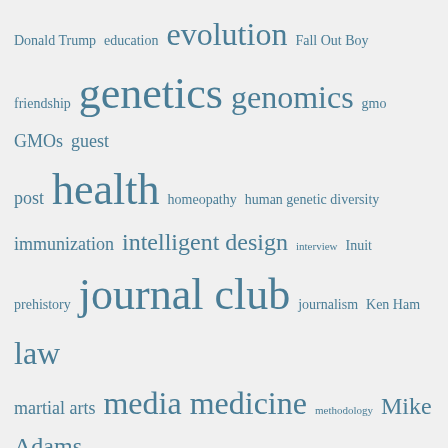[Figure (infographic): Tag cloud with science/education blog topics in varying font sizes, all in teal/steel-blue color on light gray background. Topics include: Donald Trump, education, evolution, Fall Out Boy, friendship, genetics, genomics, gmo, GMOs, guest post, health, homeopathy, human genetic diversity, immunization, intelligent design, interview, Inuit prehistory, journal club, journalism, Ken Ham, law, martial arts, media, medicine, methodology, Mike Adams, mitochondrial DNA, mma, MMR, Monsanto, music, My research, Native American prehistory, Natural News, negotiation, Nicholas Wade, outreach, paleontology, Patrick Stump, peopling of the Americas, personal, philosophy, politics, population genetics, Pseudolaw, pseudoscience, public health, publishing, quackery, race, racism, research, science, science communication, skepticism, Solutrean hypothesis, space, television, universe]